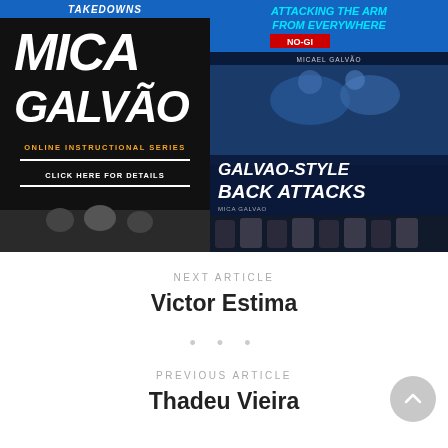[Figure (photo): Promotional banner showing Mica Galvão online instructional series on left (black background with white/yellow text: MICA GALVÃO ONLINE INSTRUCTIONAL SERIES, CLICK HERE FOR DETAILS) and right side shows 'ATTACKING THE ARM FROM EVERYWHERE NO-GI' by Micael Galvão and 'GALVAO-STYLE BACK ATTACKS' by Mica Galvao instructional covers with BJJ athletes]
NEXT ARTICLE
Victor Estima
• • •
PREVIOUS ARTICLE
Thadeu Vieira